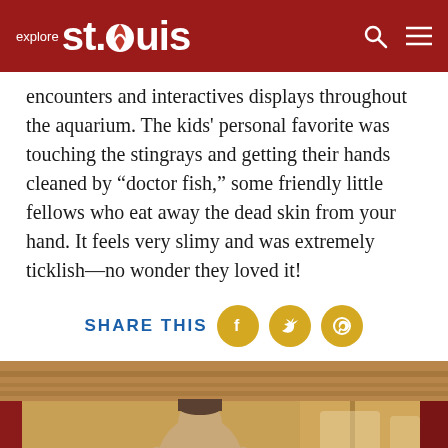explore st.louis
encounters and interactives displays throughout the aquarium. The kids' personal favorite was touching the stingrays and getting their hands cleaned by "doctor fish," some friendly little fellows who eat away the dead skin from your hand. It feels very slimy and was extremely ticklish—no wonder they loved it!
SHARE THIS
[Figure (photo): Child wearing harness on what appears to be a zip line or climbing attraction indoors, with warm wooden ceiling and red structural elements visible in background]